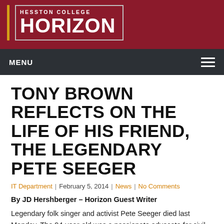HESSTON COLLEGE HORIZON
TONY BROWN REFLECTS ON THE LIFE OF HIS FRIEND, THE LEGENDARY PETE SEEGER
IT Department | February 5, 2014 | News | No Comments
By JD Hershberger – Horizon Guest Writer
Legendary folk singer and activist Pete Seeger died last Monday. The 94-year-old was a passionate advocate for civil rights, nonviolence, and environmentalism. Seeger was also a personal friend of Hesston College sociology professor Tony Brown